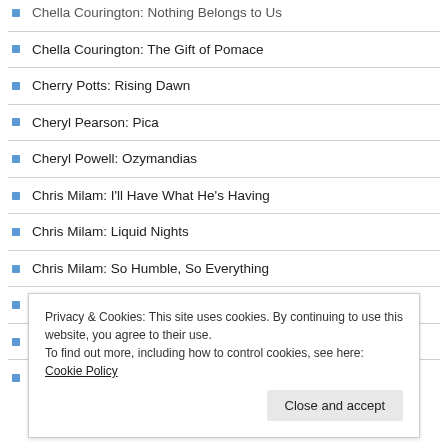Chella Courington: The Gift of Pomace
Cherry Potts: Rising Dawn
Cheryl Pearson: Pica
Cheryl Powell: Ozymandias
Chris Milam: I'll Have What He's Having
Chris Milam: Liquid Nights
Chris Milam: So Humble, So Everything
Christina Dalcher: The First Rule is “Do No Harm”
Christine Baerbock: No Love is Okay
Christopher Acker: Whatever Happens, Happens
Privacy & Cookies: This site uses cookies. By continuing to use this website, you agree to their use. To find out more, including how to control cookies, see here: Cookie Policy
Close and accept